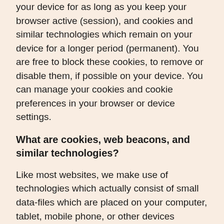your device for as long as you keep your browser active (session), and cookies and similar technologies which remain on your device for a longer period (permanent). You are free to block these cookies, to remove or disable them, if possible on your device. You can manage your cookies and cookie preferences in your browser or device settings.
What are cookies, web beacons, and similar technologies?
Like most websites, we make use of technologies which actually consist of small data-files which are placed on your computer, tablet, mobile phone, or other devices (collectively called ‘device’). These files allow us to register certain data-fragments as soon as you visit our website or use our services.
The specific names and types of the cookies, web beacons, and other similar technologies we apply may